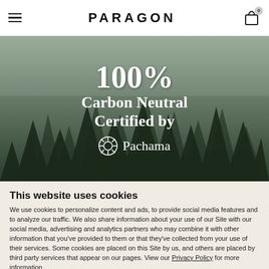PARAGON
[Figure (photo): Forest with fog and tall evergreen trees. Overlaid text reads: 100% Carbon Neutral Certified by Pachama (with Pachama logo/icon).]
This website uses cookies
We use cookies to personalize content and ads, to provide social media features and to analyze our traffic. We also share information about your use of our Site with our social media, advertising and analytics partners who may combine it with other information that you've provided to them or that they've collected from your use of their services. Some cookies are placed on this Site by us, and others are placed by third party services that appear on our pages. View our Privacy Policy for more information
Allow all cookies
Show details